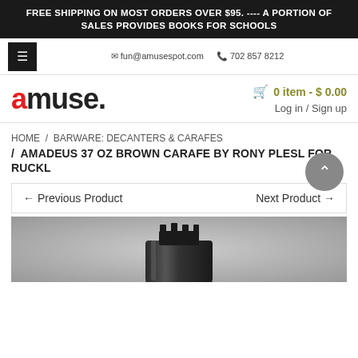FREE SHIPPING ON MOST ORDERS OVER $95. ---- A PORTION OF SALES PROVIDES BOOKS FOR SCHOOLS
fun@amusespot.com   702 857 8212
amuse.
0 item - $ 0.00
Log in / Sign up
HOME / BARWARE: DECANTERS & CARAFES / AMADEUS 37 OZ BROWN CARAFE BY RONY PLESL FOR RUCKL
[Figure (photo): Top portion of a dark brown/black glass carafe (Amadeus 37 oz) on a gray gradient background]